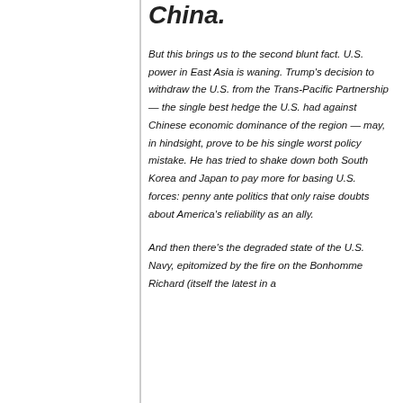China.
But this brings us to the second blunt fact. U.S. power in East Asia is waning. Trump's decision to withdraw the U.S. from the Trans-Pacific Partnership — the single best hedge the U.S. had against Chinese economic dominance of the region — may, in hindsight, prove to be his single worst policy mistake. He has tried to shake down both South Korea and Japan to pay more for basing U.S. forces: penny ante politics that only raise doubts about America's reliability as an ally.
And then there's the degraded state of the U.S. Navy, epitomized by the fire on the Bonhomme Richard (itself the latest in a